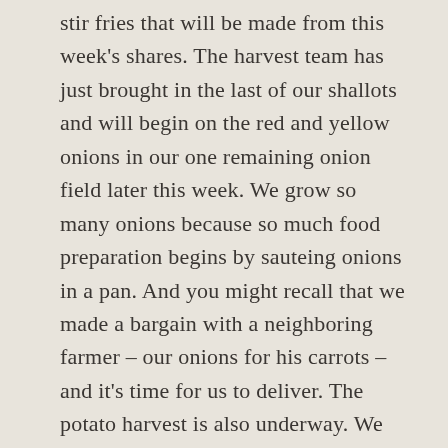stir fries that will be made from this week's shares. The harvest team has just brought in the last of our shallots and will begin on the red and yellow onions in our one remaining onion field later this week. We grow so many onions because so much food preparation begins by sauteing onions in a pan. And you might recall that we made a bargain with a neighboring farmer – our onions for his carrots – and it's time for us to deliver. The potato harvest is also underway. We opted to start with the variety Red Gold, which will be in this week's share, and not the Red Norland, because weeds were going to make that harvest too slow for the time being.